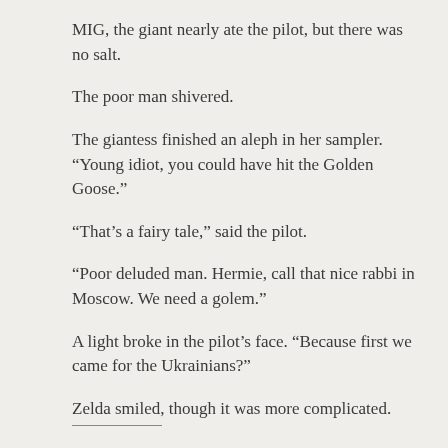MIG, the giant nearly ate the pilot, but there was no salt.
The poor man shivered.
The giantess finished an aleph in her sampler. “Young idiot, you could have hit the Golden Goose.”
“That’s a fairy tale,” said the pilot.
“Poor deluded man. Hermie, call that nice rabbi in Moscow. We need a golem.”
A light broke in the pilot’s face. “Because first we came for the Ukrainians?”
Zelda smiled, though it was more complicated.